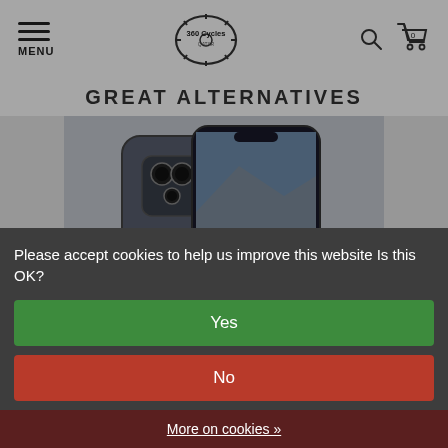MENU | 360 Cycles | Search | Cart (0)
GREAT ALTERNATIVES
[Figure (photo): Two smartphones (iPhone 13 Pro style) shown front and back, one displaying a cycling/mountain bike scene, the other showing a camera module with an SP Connect bike mount attachment.]
SP Connect Bike Bundle II (Phone Case and Mounting Bracket)
Please accept cookies to help us improve this website Is this OK?
Yes
No
More on cookies »